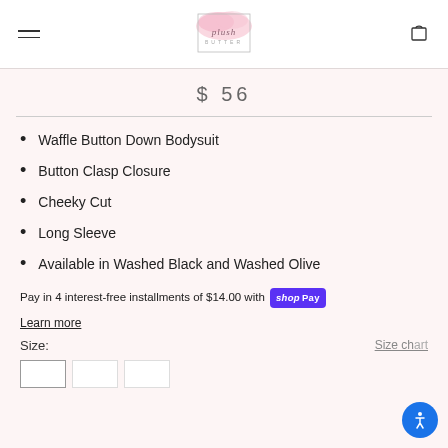Plush Butter (logo)
$ 56
Waffle Button Down Bodysuit
Button Clasp Closure
Cheeky Cut
Long Sleeve
Available in Washed Black and Washed Olive
Pay in 4 interest-free installments of $14.00 with shopPay
Learn more
Size:
Size chart